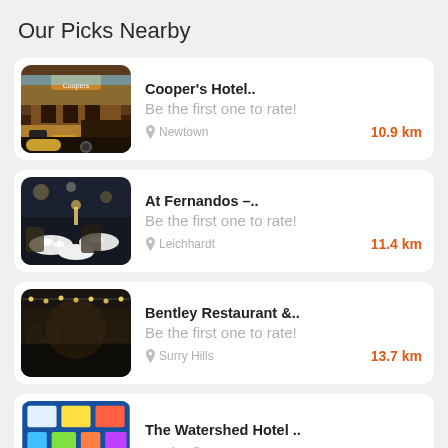Our Picks Nearby
Cooper's Hotel.. | Be the first one to rate! | Newtown | 10.9 km
At Fernandos –.. | Be the first one to rate! | Leichhardt | 11.4 km
Bentley Restaurant &.. | Be the first one to rate! | Surry Hills | 13.7 km
The Watershed Hotel .. | Be the first one to rate!